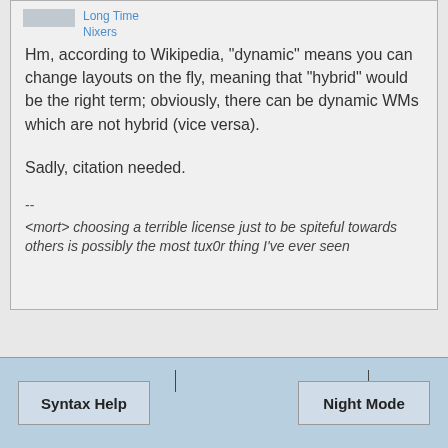Long Time Nixers
Hm, according to Wikipedia, "dynamic" means you can change layouts on the fly, meaning that "hybrid" would be the right term; obviously, there can be dynamic WMs which are not hybrid (vice versa).
Sadly, citation needed.
--
<mort> choosing a terrible license just to be spiteful towards others is possibly the most tux0r thing I've ever seen
Syntax Help
Night Mode